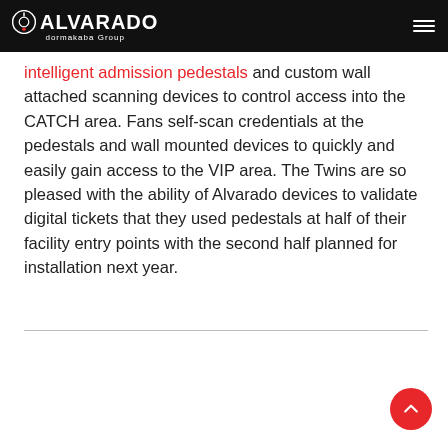ALVARADO dormakaba Group
intelligent admission pedestals and custom wall attached scanning devices to control access into the CATCH area. Fans self-scan credentials at the pedestals and wall mounted devices to quickly and easily gain access to the VIP area. The Twins are so pleased with the ability of Alvarado devices to validate digital tickets that they used pedestals at half of their facility entry points with the second half planned for installation next year.